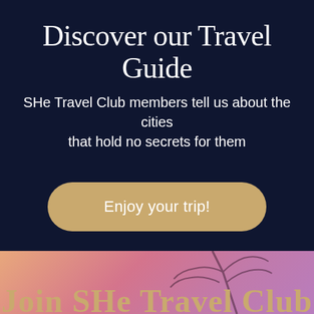Discover our Travel Guide
SHe Travel Club members tell us about the cities that hold no secrets for them
Enjoy your trip!
Join SHe Travel Club